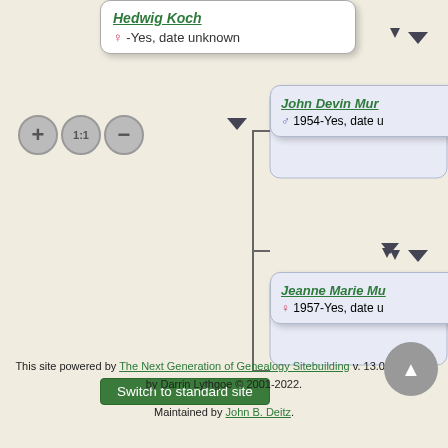[Figure (flowchart): Genealogy chart screenshot showing family tree nodes. Hedwig Koch card (top, white background) with female symbol and '-Yes, date unknown'. Right side shows three lavender cards: John Devin Mun (male, 1954-Yes, date u[nknown]), Jeanne Marie Mu (female, 1957-Yes, date u[nknown]), Janet Sue Mun (female, 1962-Yes, date u[nknown]). Zoom controls (plus, 1:1, minus) on left. Connecting lines and down-arrow triangles between nodes.]
Switch to standard site
This site powered by The Next Generation of Genealogy Sitebuilding v. 13.0.2, written by Darrin Lythgoe © 2001-2022.
Maintained by John B. Deitz.